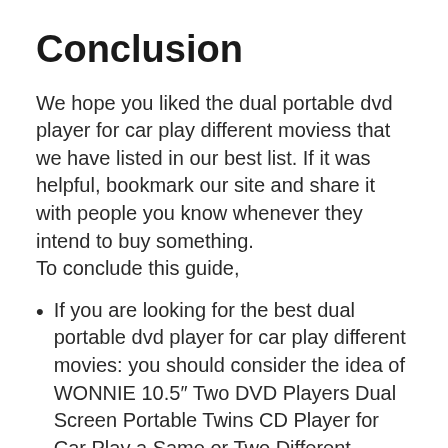Conclusion
We hope you liked the dual portable dvd player for car play different moviess that we have listed in our best list. If it was helpful, bookmark our site and share it with people you know whenever they intend to buy something.
To conclude this guide,
If you are looking for the best dual portable dvd player for car play different movies: you should consider the idea of WONNIE 10.5″ Two DVD Players Dual Screen Portable Twins CD Player for Car Play a Same or Two Different Movies with 5-Hour Rechargeable Battery, 2 Mounting Brackets,